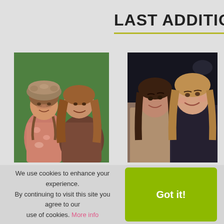LAST ADDITIO
[Figure (photo): Two young women posing together in front of a green background, wearing winter/bohemian-style clothing with fur hats]
255 views
OCT 24, 2013
[Figure (photo): Two young women smiling closely together, wearing winter jackets, dark background]
284 views
OCT 24, 2013
We use cookies to enhance your experience. By continuing to visit this site you agree to our use of cookies. More info